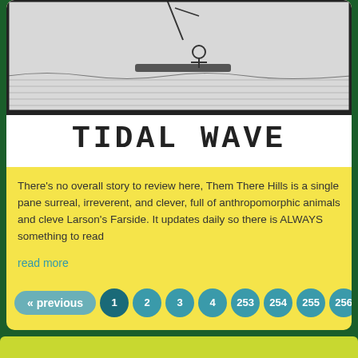[Figure (illustration): Comic strip panel showing a figure on a surfboard or raft on water, black and white sketch style, partially cropped at top]
TIDAL WAVE
There's no overall story to review here, Them There Hills is a single pane surreal, irreverent, and clever, full of anthropomorphic animals and cleve Larson's Farside. It updates daily so there is ALWAYS something to read
read more
« previous 1 2 3 4 253 254 255 256 ...
contact/about   policies
©2011 WOWIO, Inc. All Rights Reserved Google+